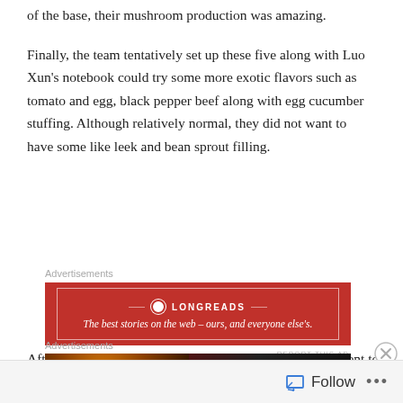of the base, their mushroom production was amazing.
Finally, the team tentatively set up these five along with Luo Xun's notebook could try some more exotic flavors such as tomato and egg, black pepper beef along with egg cucumber stuffing. Although relatively normal, they did not want to have some like leek and bean sprout filling.
[Figure (other): Longreads advertisement banner: red background with white border, logo, and tagline 'The best stories on the web — ours, and everyone else's.']
After a morning consultation, the team went to the basement to check on the crops. Once they were ready,
[Figure (other): Pizza advertisement banner with dark background and ORDER button]
Follow  •••